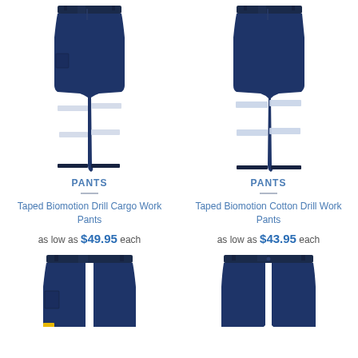[Figure (photo): Navy blue work pants with reflective taped stripes - Taped Biomotion Drill Cargo Work Pants]
[Figure (photo): Navy blue work pants with reflective taped stripes - Taped Biomotion Cotton Drill Work Pants]
PANTS
Taped Biomotion Drill Cargo Work Pants
as low as $49.95 each
PANTS
Taped Biomotion Cotton Drill Work Pants
as low as $43.95 each
[Figure (photo): Bottom portion of navy work pants - partial view]
[Figure (photo): Bottom portion of navy shorts/pants - partial view]